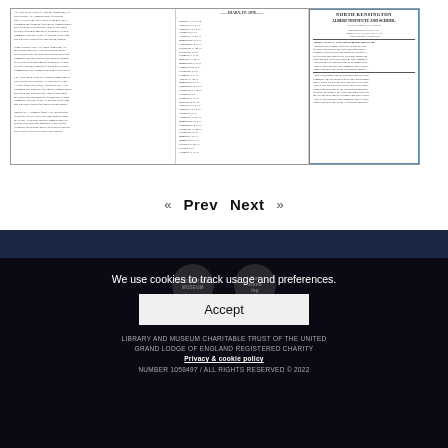[Figure (photo): Scanned newspaper page showing multiple columns of small historical text. Right column is highlighted with a blue border containing a notice about NORTH KENSINGTON ALBERT INSTITUTE AND SCHOOL with details about lectures and events.]
« Prev   Next »
We use cookies to track usage and preferences.
Accept
LIBRARY AND MUSEUM CHARITABLE TRUST OF THE UNITED GRAND LODGE OF ENGLAND REGISTERED CHARITY NUMBER 1058497 / ALL RIGHTS RESERVED © 2022
Privacy & cookie policy